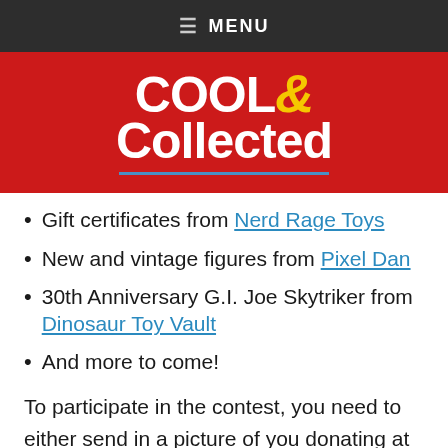≡ MENU
[Figure (logo): Cool & Collected logo — white bold text on red background with yellow ampersand]
Gift certificates from Nerd Rage Toys
New and vintage figures from Pixel Dan
30th Anniversary G.I. Joe Skytriker from Dinosaur Toy Vault
And more to come!
To participate in the contest, you need to either send in a picture of you donating at a Toys For Tots drop off box or forward a copy of your receipt from an online cash donation to the Toys For Tots